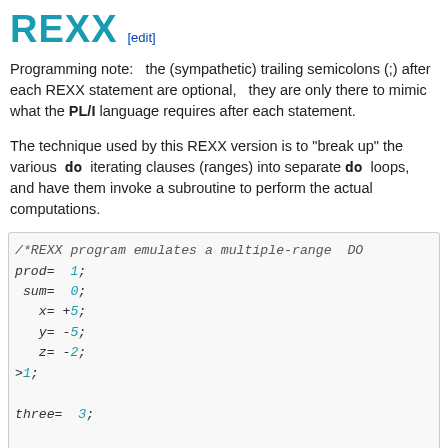REXX [edit]
Programming note:   the (sympathetic) trailing semicolons (;) after each REXX statement are optional,   they are only there to mimic what the PL/I language requires after each statement.
The technique used by this REXX version is to "break up" the various   do   iterating clauses (ranges) into separate do   loops,   and have them invoke a subroutine to perform the actual computations.
[Figure (screenshot): REXX code block showing variable initializations (prod=1, sum=0, x=+5, y=-5, z=-2, one=1, three=3, seven=7) and the beginning of do loop statements with j= -three to 3**3 by th... and do i= -seven to seven by...]